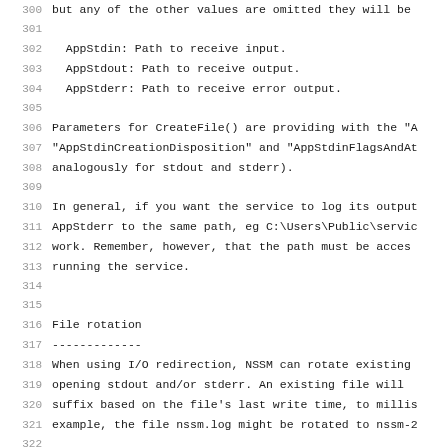300    but any of the other values are omitted they will be
301
302      AppStdin: Path to receive input.
303      AppStdout: Path to receive output.
304      AppStderr: Path to receive error output.
305
306    Parameters for CreateFile() are providing with the "A
307    "AppStdinCreationDisposition" and "AppStdinFlagsAndAt
308    analogously for stdout and stderr).
309
310    In general, if you want the service to log its output
311    AppStderr to the same path, eg C:\Users\Public\servic
312    work.  Remember, however, that the path must be acces
313    running the service.
314
315
316    File rotation
317    -------------
318    When using I/O redirection, NSSM can rotate existing
319    opening stdout and/or stderr.  An existing file will
320    suffix based on the file's last write time, to millis
321    example, the file nssm.log might be rotated to nssm-2
322